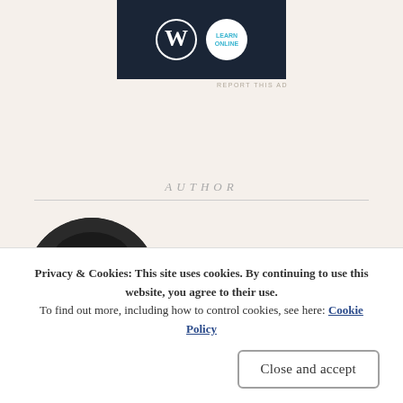[Figure (logo): WordPress and brand logo on dark navy background banner]
REPORT THIS AD
AUTHOR
[Figure (photo): Black and white circular author photo showing a person's face]
Privacy & Cookies: This site uses cookies. By continuing to use this website, you agree to their use.
To find out more, including how to control cookies, see here: Cookie Policy